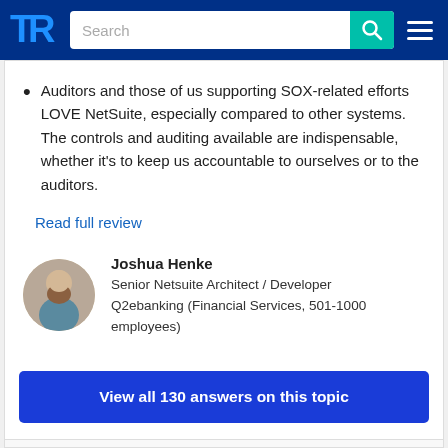[Figure (screenshot): TrustRadius website navigation bar with logo, search box, and hamburger menu]
Auditors and those of us supporting SOX-related efforts LOVE NetSuite, especially compared to other systems. The controls and auditing available are indispensable, whether it's to keep us accountable to ourselves or to the auditors.
Read full review
Joshua Henke
Senior Netsuite Architect / Developer
Q2ebanking (Financial Services, 501-1000 employees)
View all 130 answers on this topic